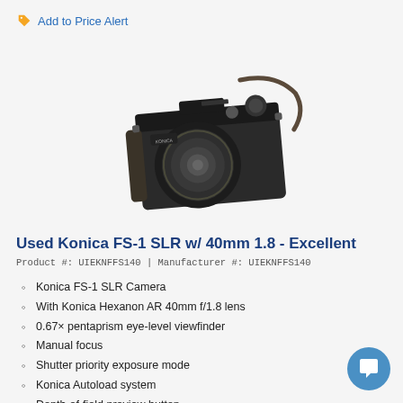Add to Price Alert
[Figure (photo): Black Konica FS-1 SLR camera with 40mm lens and strap, viewed from slight angle]
Used Konica FS-1 SLR w/ 40mm 1.8 - Excellent
Product #: UIEKNFFS140 | Manufacturer #: UIEKNFFS140
Konica FS-1 SLR Camera
With Konica Hexanon AR 40mm f/1.8 lens
0.67× pentaprism eye-level viewfinder
Manual focus
Shutter priority exposure mode
Konica Autoload system
Depth-of-field preview button
Self-timer